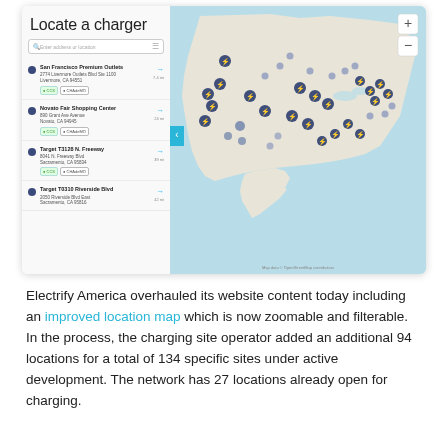[Figure (screenshot): Screenshot of Electrify America's 'Locate a charger' web page showing a left panel with charging station listings (San Francisco Premium Outlets, Novato Fair Shopping Center, Target T3128 N. Freeway, Target T0310 Riverside Blvd) and a right panel with an interactive map of the United States showing charger locations as markers.]
Electrify America overhauled its website content today including an improved location map which is now zoomable and filterable. In the process, the charging site operator added an additional 94 locations for a total of 134 specific sites under active development. The network has 27 locations already open for charging.